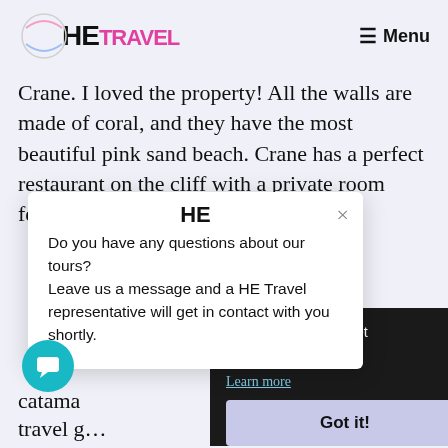HE TRAVEL — Menu
Crane. I loved the property! All the walls are made of coral, and they have the most beautiful pink sand beach. Crane has a perfect restaurant on the cliff with a private room featuring floor-to-ceiling ... at dinner.
... no gave us ideas for ...
[Figure (screenshot): Popup dialog with HE logo, close button (×), and text: Do you have any questions about our tours? Leave us a message and a HE Travel representative will get in contact with you shortly.]
[Figure (screenshot): Dark cookie consent bar with text about cookies, Learn more link, and Got it! button.]
catama...
travel g...